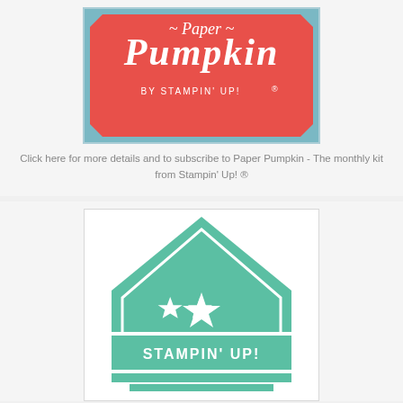[Figure (logo): Paper Pumpkin by Stampin' Up! logo — white decorative text on coral/red background with teal border frame]
Click here for more details and to subscribe to Paper Pumpkin - The monthly kit from Stampin' Up! ®
[Figure (logo): Stampin' Up! logo — mint/teal badge shape with house/pentagon outline, three stars (one large center, two smaller), and STAMPIN' UP! text banner]